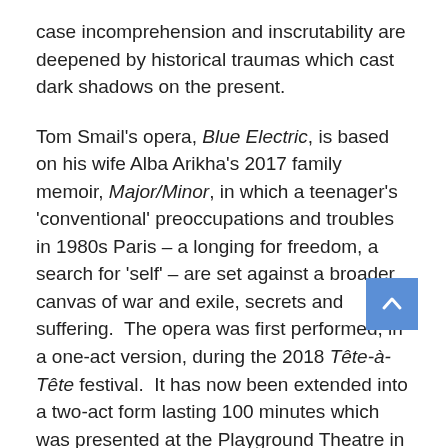case incomprehension and inscrutability are deepened by historical traumas which cast dark shadows on the present.
Tom Smail's opera, Blue Electric, is based on his wife Alba Arikha's 2017 family memoir, Major/Minor, in which a teenager's 'conventional' preoccupations and troubles in 1980s Paris – a longing for freedom, a search for 'self' – are set against a broader canvas of war and exile, secrets and suffering.  The opera was first performed, in a one-act version, during the 2018 Tête-à-Tête festival.  It has now been extended into a two-act form lasting 100 minutes which was presented at the Playground Theatre in October and streamed live on YouTube.
Alba Arikha is the daughter of the Romanian-born artist Avigdor Arikha, who, having survived the Holocaust, was relocated to Palestine by the Red Cross in 1944.  Four